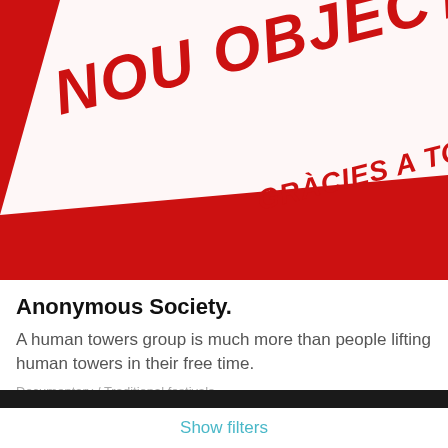[Figure (illustration): Red background banner with diagonal white stripe and bold italic text reading 'NOU OBJECTIU: 5.500' and below 'GRÀCIES A TOTES!' in red on the white stripe]
Anonymous Society.
A human towers group is much more than people lifting human towers in their free time.
Documentary / Traditional festivals
We use our own cookies to provide website functionality and third party cookies to analyze traffic and serve targeted advertisements based on your surfing habits. You can accept all cookies by clicking "Accept" or obtain more information and set your preferences here.
Accept
Show filters